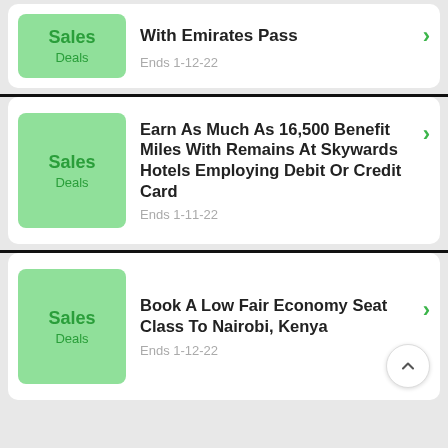Sales Deals
With Emirates Pass
Ends 1-12-22
Sales Deals
Earn As Much As 16,500 Benefit Miles With Remains At Skywards Hotels Employing Debit Or Credit Card
Ends 1-11-22
Sales Deals
Book A Low Fair Economy Seat Class To Nairobi, Kenya
Ends 1-12-22